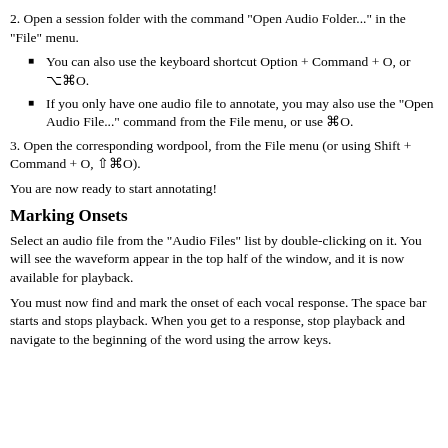2. Open a session folder with the command "Open Audio Folder..." in the "File" menu.
You can also use the keyboard shortcut Option + Command + O, or ⌥⌘O.
If you only have one audio file to annotate, you may also use the "Open Audio File..." command from the File menu, or use ⌘O.
3. Open the corresponding wordpool, from the File menu (or using Shift + Command + O, ⇧⌘O).
You are now ready to start annotating!
Marking Onsets
Select an audio file from the "Audio Files" list by double-clicking on it. You will see the waveform appear in the top half of the window, and it is now available for playback.
You must now find and mark the onset of each vocal response. The space bar starts and stops playback. When you get to a response, stop playback and navigate to the beginning of the word using the arrow keys.